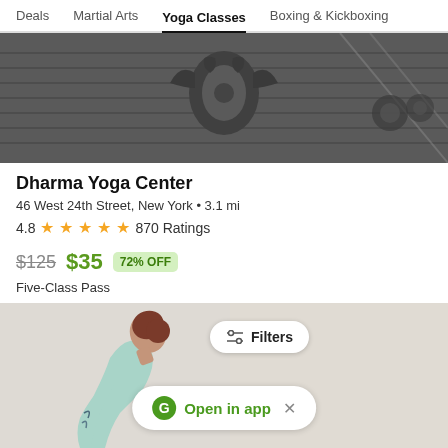Deals  Martial Arts  Yoga Classes  Boxing & Kickboxing
[Figure (photo): Black and white photo of a gym interior with a decorative lotus/dharma wheel motif and exercise equipment in the background]
Dharma Yoga Center
46 West 24th Street, New York • 3.1 mi
4.8 ★★★★★ 870 Ratings
$125 $35 72% OFF
Five-Class Pass
[Figure (screenshot): Bottom section showing a person doing yoga (woman with tattoos tilting head back), a Filters button, and an Open in app banner with G logo and close X button]